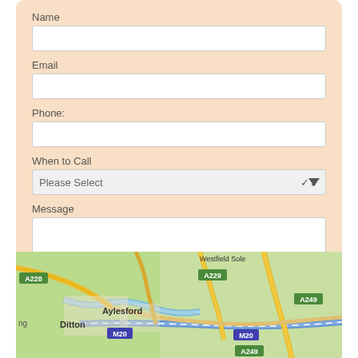Name
Email
Phone:
When to Call
Message
1 + 2 =
[Figure (map): Google Maps showing Aylesford, Ditton area in Kent, UK with roads A228, A229, M20, A249 visible]